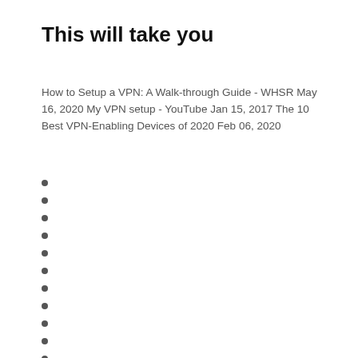This will take you
How to Setup a VPN: A Walk-through Guide - WHSR May 16, 2020 My VPN setup - YouTube Jan 15, 2017 The 10 Best VPN-Enabling Devices of 2020 Feb 06, 2020